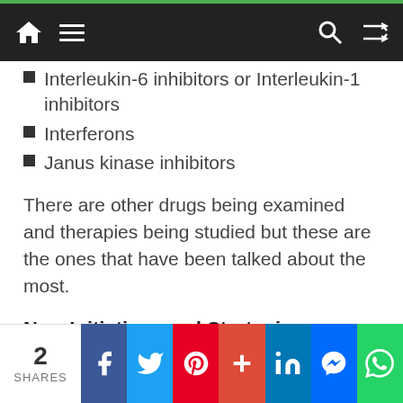Navigation bar with home, menu, search, and shuffle icons
Interleukin-6 inhibitors or Interleukin-1 inhibitors
Interferons
Janus kinase inhibitors
There are other drugs being examined and therapies being studied but these are the ones that have been talked about the most.
New Initiatives and Strategies Announced
Urgent public health measures are needed to control the spread of the novel coronavirus. Scientific research to improve our understanding
2 SHARES — Facebook, Twitter, Pinterest, Plus, LinkedIn, Messenger, WhatsApp